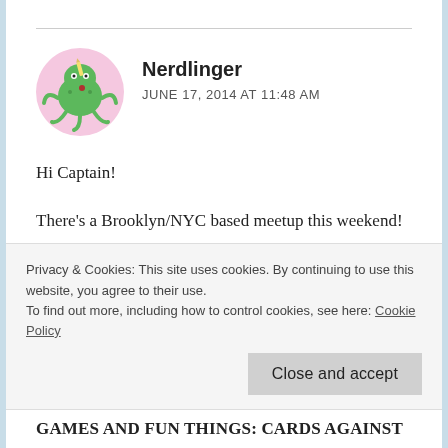[Figure (illustration): Avatar/profile image: circular pink background with a green cartoon monster/creature with tentacles, holding a pencil]
Nerdlinger
JUNE 17, 2014 AT 11:48 AM
Hi Captain!
There's a Brooklyn/NYC based meetup this weekend!
WHEN: SAT Jun 21st @ 1-4p
WHERE: Berry Park (@ 4 Berry Street; Brooklyn,
Privacy & Cookies: This site uses cookies. By continuing to use this website, you agree to their use.
To find out more, including how to control cookies, see here: Cookie Policy
Close and accept
GAMES AND FUN THINGS: Cards Against